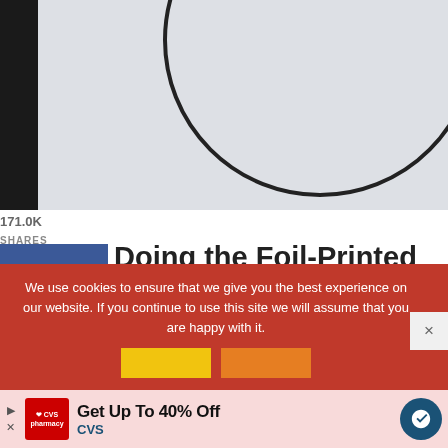[Figure (photo): Photo showing a white/grey surface with a large circle drawn in black ink, with a black panel on the left edge]
171.0K
SHARES
Doing the Foil-Printed Moon:
[Figure (infographic): Social share sidebar with Facebook (45), Twitter, and Pinterest (170.9K) buttons]
We use cookies to ensure that we give you the best experience on our website. If you continue to use this site we will assume that you are happy with it.
[Figure (screenshot): Advertisement banner: CVS pharmacy Get Up To 40% Off]